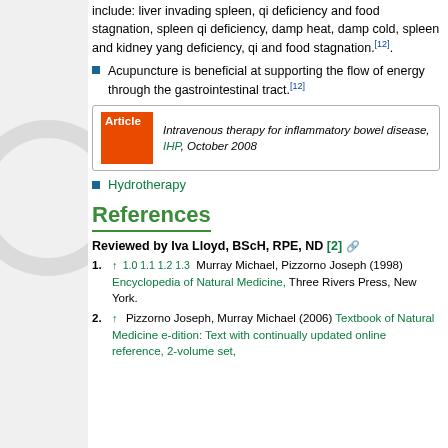include: liver invading spleen, qi deficiency and food stagnation, spleen qi deficiency, damp heat, damp cold, spleen and kidney yang deficiency, qi and food stagnation.[12].
Acupuncture is beneficial at supporting the flow of energy through the gastrointestinal tract.[12]
[Figure (other): Article box: Intravenous therapy for inflammatory bowel disease, IHP, October 2008]
Hydrotherapy
References
Reviewed by Iva Lloyd, BScH, RPE, ND [2]
1.0 1.1 1.2 1.3 Murray Michael, Pizzorno Joseph (1998) Encyclopedia of Natural Medicine, Three Rivers Press, New York.
2. Pizzorno Joseph, Murray Michael (2006) Textbook of Natural Medicine e-dition: Text with continually updated online reference, 2-volume set,